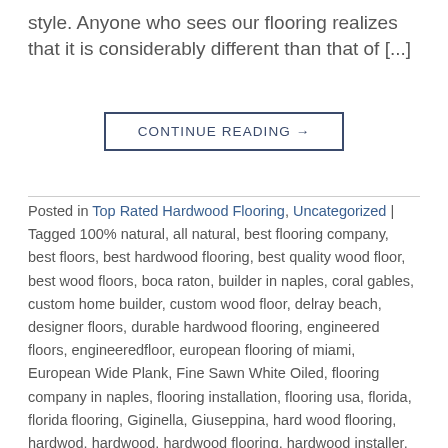style. Anyone who sees our flooring realizes that it is considerably different than that of [...]
CONTINUE READING →
Posted in Top Rated Hardwood Flooring, Uncategorized | Tagged 100% natural, all natural, best flooring company, best floors, best hardwood flooring, best quality wood floor, best wood floors, boca raton, builder in naples, coral gables, custom home builder, custom wood floor, delray beach, designer floors, durable hardwood flooring, engineered floors, engineeredfloor, european flooring of miami, European Wide Plank, Fine Sawn White Oiled, flooring company in naples, flooring installation, flooring usa, florida, florida flooring, Giginella, Giuseppina, hard wood flooring, hardwod, hardwood, hardwood flooring, hardwood installer, highland beach, home design, home improvment, italian flooring, italian hardwood manufature in naples florida, jupiter, leading flooring company in naples, legno bastone, luxury hardwood flooring, luxury homes, luxury wood floors, maintenace, marine-grade, miami, miami beach, miami design district, miami flooring, miami floors, miami real estate, moisture barrier, no formaldehyde, no voc, number one flooring, oil finish, oil